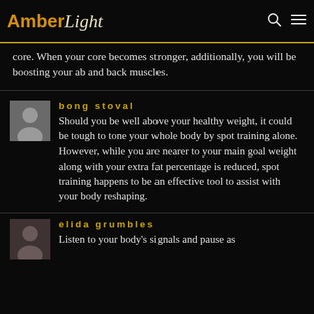AmberLight
core. When your core becomes stronger, additionally, you will be boosting your ab and back muscles.
bong stoval
Should you be well above your healthy weight, it could be tough to tone your whole body by spot training alone. However, while you are nearer to your main goal weight along with your extra fat percentage is reduced, spot training happens to be an effective tool to assist with your body reshaping.
elida grumbles
Listen to your body's signals and pause as